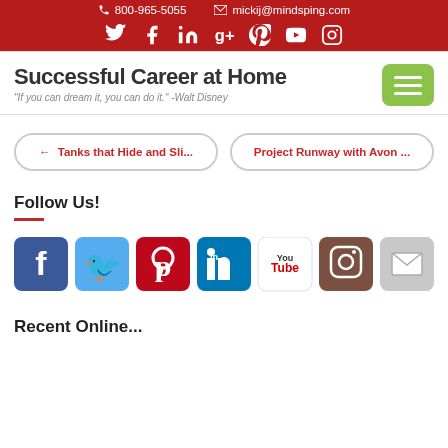800-965-5055  mickij@mindsping.com
Successful Career at Home
"If you can dream it, you can do it." -Walt Disney
← Tanks that Hide and Sli...
Project Runway with Avon ...
Follow Us!
[Figure (infographic): Row of social media icons: Facebook, Twitter, Pinterest, LinkedIn, YouTube, Instagram, Email]
Recent Online...